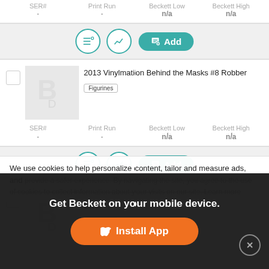| SER# | Print Run | Beckett Low | Beckett High |
| --- | --- | --- | --- |
| - | - | n/a | n/a |
[Figure (screenshot): Action buttons: list add, chart, and teal Add button]
2013 Vinylmation Behind the Masks #8 Robber
Figurines
| SER# | Print Run | Beckett Low | Beckett High |
| --- | --- | --- | --- |
| - | - | n/a | n/a |
[Figure (screenshot): Action buttons: list add, chart, and teal Add button]
2013 Vinylmation Behind the Masks #9 Scuba Diver
Figurines
We use cookies to help personalize content, tailor and measure ads, and provide a safer experience. By navigating the site, you agree to the use of cookies to collect information about your visits on our site. Learn more
Get Beckett on your mobile device.
Install App